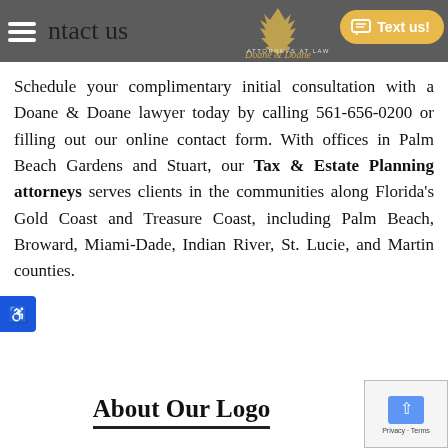Contact us
[Figure (logo): Doane & Doane Attorneys at Law logo with pineapple icon, and a 'Text us!' button in yellow/gold color]
Schedule your complimentary initial consultation with a Doane & Doane lawyer today by calling 561-656-0200 or filling out our online contact form. With offices in Palm Beach Gardens and Stuart, our Tax & Estate Planning attorneys serves clients in the communities along Florida's Gold Coast and Treasure Coast, including Palm Beach, Broward, Miami-Dade, Indian River, St. Lucie, and Martin counties.
About Our Logo